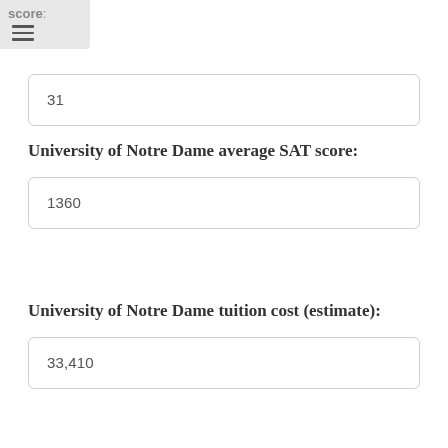score:
31
University of Notre Dame average SAT score:
1360
University of Notre Dame tuition cost (estimate):
33,410